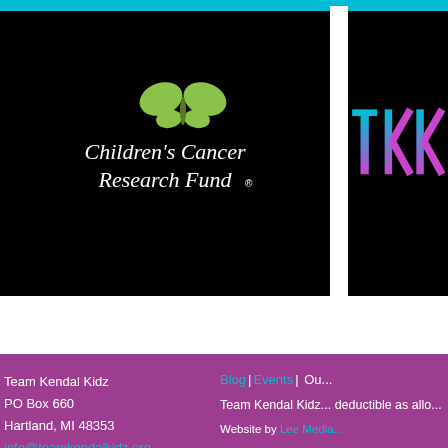[Figure (logo): Children's Cancer Research Fund logo on black background with green butterfly and white text]
[Figure (logo): Team Kendal Kidz (TKK) logo on black background with teal and pink stylized letters]
Team Kendal Kidz
PO Box 660
Hartland, MI 48353
info@teamkendalkidz.org
Blog | Events | Ou...
Team Kendal Kidz... deductible as allo...
Website by Lee Media...